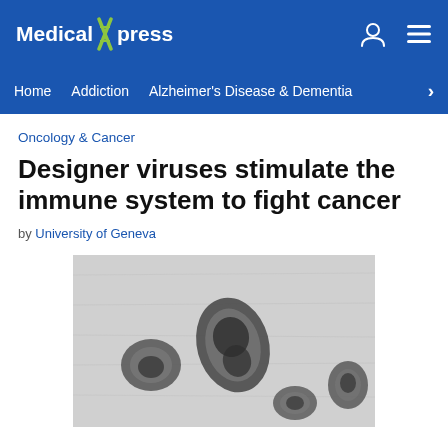Medical Xpress
Home | Addiction | Alzheimer's Disease & Dementia >
Oncology & Cancer
Designer viruses stimulate the immune system to fight cancer
by University of Geneva
[Figure (photo): Electron microscopy image showing dark oval/bean-shaped viral or cellular particles on a light grey background]